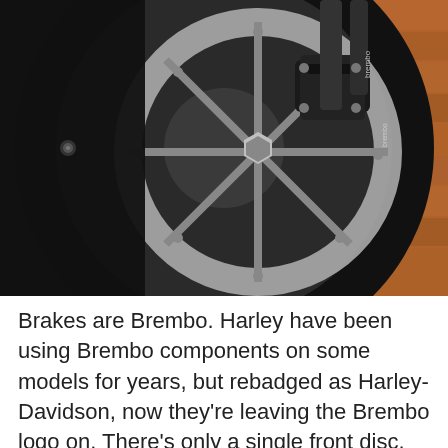[Figure (photo): Close-up photograph of a motorcycle front wheel showing a Brembo brake caliper and disc rotor. The Brembo logo is visible on the black caliper. The wheel has dark spokes and the brake disc is silver/grey. Background shows brick wall.]
Brakes are Brembo. Harley have been using Brembo components on some models for years, but rebadged as Harley-Davidson, now they're leaving the Brembo logo on. There's only a single front disc, an unusual choice for a 124bhp bike. Braking tech has improved since the 1990s, when that power was top sportsbike territory, but still, it feels like some people think it's a cost, or weight, saving measure too far. Meanwhile, the Sportster S has cornering ABS and